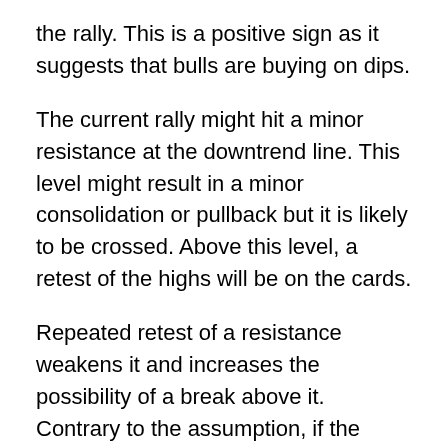the rally. This is a positive sign as it suggests that bulls are buying on dips.
The current rally might hit a minor resistance at the downtrend line. This level might result in a minor consolidation or pullback but it is likely to be crossed. Above this level, a retest of the highs will be on the cards.
Repeated retest of a resistance weakens it and increases the possibility of a break above it. Contrary to the assumption, if the price turns down from the current levels or the overhead resistance and breaks below the $4.30, a deeper correction is likely.
The views and opinions expressed here are solely those of the author and do not necessarily reflect the views of Cointelegraph. Every investment and